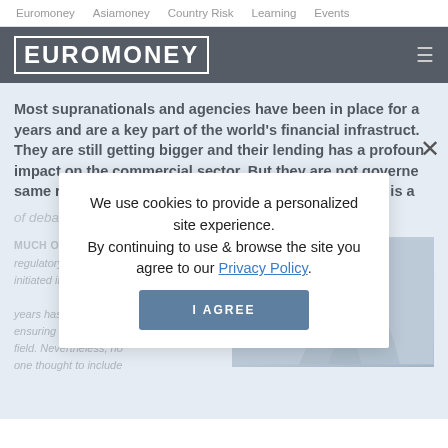Euromoney   Asiamoney   Country Risk   Learning   Events
[Figure (logo): Euromoney logo in white bold uppercase text on dark grey background bar with hamburger menu icon]
Most supranationals and agencies have been in place for a years and are a key part of the world's financial infrastruct. They are still getting bigger and their lending has a profoun impact on the commercial sector. But they are not governe same rules as commercial banks and their proper role is a of debate.
We use cookies to provide a personalized site experience. By continuing to use & browse the site you agree to our Privacy Policy.
I AGREE
MUCH OF THE argum... regulatory regime initiated in the past few years has centred on ensuring a level play field. Nevertheless, no one thought to include